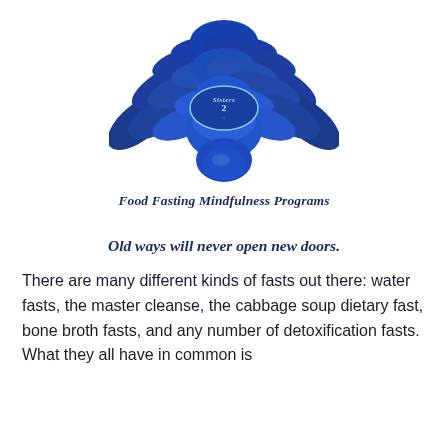[Figure (logo): Sisters 2 lotus flower logo — a large blue lotus flower with multiple layered petals in dark and medium blue tones, with a central oval containing the text 'Sisters 2' in light blue/white lettering]
Food Fasting Mindfulness Programs
Old ways will never open new doors.
There are many different kinds of fasts out there:  water fasts, the master cleanse, the cabbage soup dietary fast, bone broth fasts, and any number of detoxification fasts.  What they all have in common is